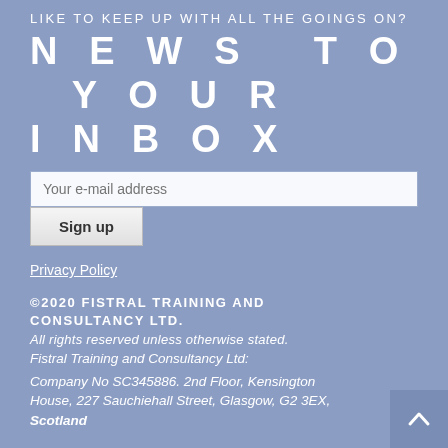LIKE TO KEEP UP WITH ALL THE GOINGS ON?
NEWS TO YOUR INBOX
Your e-mail address
Sign up
Privacy Policy
©2020 FISTRAL TRAINING AND CONSULTANCY LTD.
All rights reserved unless otherwise stated.
Fistral Training and Consultancy Ltd:
Company No SC345886. 2nd Floor, Kensington House, 227 Sauchiehall Street, Glasgow, G2 3EX, Scotland